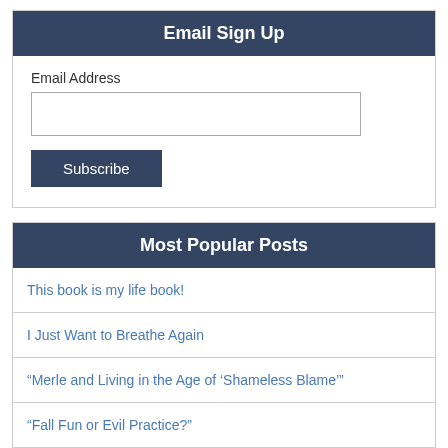Email Sign Up
Email Address
Subscribe
Most Popular Posts
This book is my life book!
I Just Want to Breathe Again
“Merle and Living in the Age of ‘Shameless Blame’”
“Fall Fun or Evil Practice?”